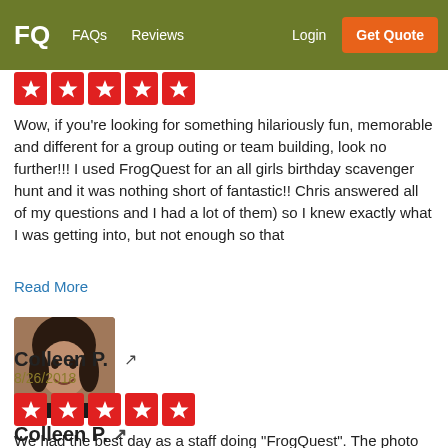FQ  FAQs  Reviews  Login  Get Quote
[Figure (other): 5 red star rating icons (partially cut off at top)]
Wow, if you're looking for something hilariously fun, memorable and different for a group outing or team building, look no further!!! I used FrogQuest for an all girls birthday scavenger hunt and it was nothing short of fantastic!! Chris answered all of my questions and I had a lot of them) so I knew exactly what I was getting into, but not enough so that
Read More
[Figure (photo): Profile photo of a woman with dark hair, smiling]
Colleen P.
8/26/2018
[Figure (other): 5 red star rating icons]
We had the best day as a staff doing "FrogQuest". The photo challenges were perfect and were specific to where we were (Old Town). We loved dressing up! Definitely learned the power of